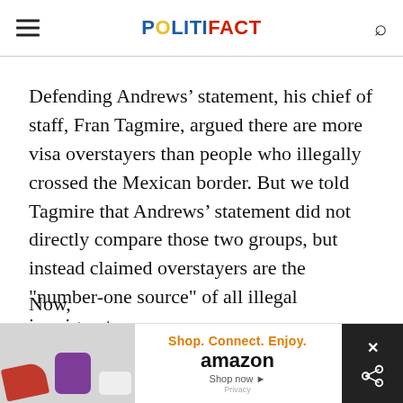POLITIFACT
Defending Andrews’ statement, his chief of staff, Fran Tagmire, argued there are more visa overstayers than people who illegally crossed the Mexican border. But we told Tagmire that Andrews’ statement did not directly compare those two groups, but instead claimed overstayers are the "number-one source" of all illegal immigrants.
Now,
[Figure (screenshot): Amazon advertisement banner: Shop. Connect. Enjoy. Shop now with Amazon logo and smile]